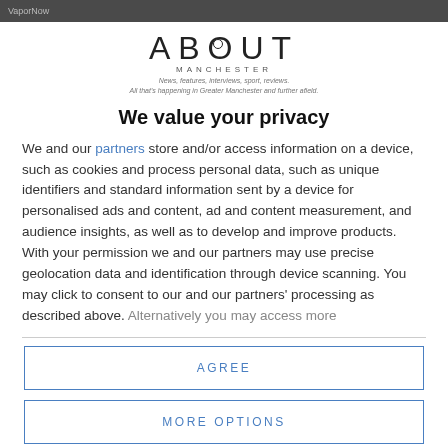VaporNow
[Figure (logo): About Manchester logo with tagline: News, features, interviews, sport, reviews. All that's happening in Greater Manchester and further afield.]
We value your privacy
We and our partners store and/or access information on a device, such as cookies and process personal data, such as unique identifiers and standard information sent by a device for personalised ads and content, ad and content measurement, and audience insights, as well as to develop and improve products. With your permission we and our partners may use precise geolocation data and identification through device scanning. You may click to consent to our and our partners' processing as described above. Alternatively you may access more
AGREE
MORE OPTIONS